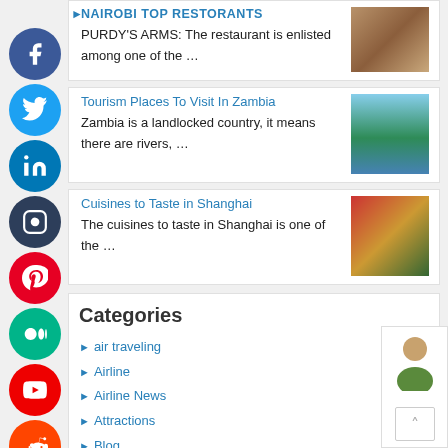[Figure (screenshot): Social media icon buttons column: Facebook, Twitter, LinkedIn, Instagram, Pinterest, Medium, YouTube, Reddit, Tumblr, Digg]
NAIROBI TOP RESTORANTS — PURDY'S ARMS: The restaurant is enlisted among one of the …
Tourism Places To Visit In Zambia — Zambia is a landlocked country, it means there are rivers, …
Cuisines to Taste in Shanghai — The cuisines to taste in Shanghai is one of the …
Categories
air traveling
Airline
Airline News
Attractions
Blog